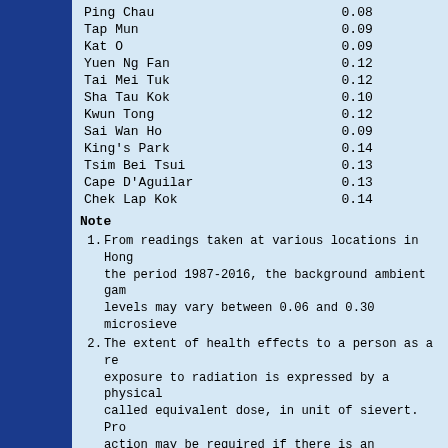| Location | Value |
| --- | --- |
| Ping Chau | 0.08 |
| Tap Mun | 0.09 |
| Kat O | 0.09 |
| Yuen Ng Fan | 0.12 |
| Tai Mei Tuk | 0.12 |
| Sha Tau Kok | 0.10 |
| Kwun Tong | 0.12 |
| Sai Wan Ho | 0.09 |
| King's Park | 0.14 |
| Tsim Bei Tsui | 0.13 |
| Cape D'Aguilar | 0.13 |
| Chek Lap Kok | 0.14 |
Note
From readings taken at various locations in Hong the period 1987-2016, the background ambient gam levels may vary between 0.06 and 0.30 microsieve
The extent of health effects to a person as a re exposure to radiation is expressed by a physical called equivalent dose, in unit of sievert. Pro action may be required if there is an increase i ambient gamma dose rate above background such th additional dose is expected to exceed 5000 micro a relatively short period of time. For example, 5000 microsieverts may be reached when the ambie dose rate is 1000 microsieverts per hour (severa times above background) and lasts for 5 hours.
The readings of ambient gamma radiation level fr